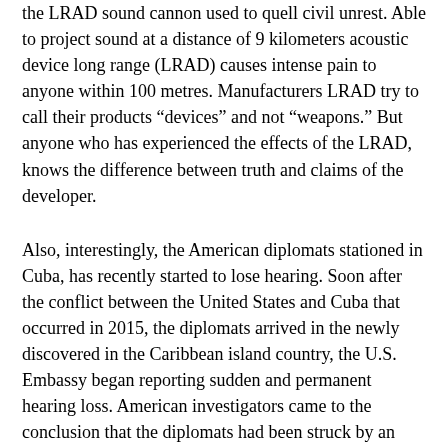the LRAD sound cannon used to quell civil unrest. Able to project sound at a distance of 9 kilometers acoustic device long range (LRAD) causes intense pain to anyone within 100 metres. Manufacturers LRAD try to call their products “devices” and not “weapons.” But anyone who has experienced the effects of the LRAD, knows the difference between truth and claims of the developer.
Also, interestingly, the American diplomats stationed in Cuba, has recently started to lose hearing. Soon after the conflict between the United States and Cuba that occurred in 2015, the diplomats arrived in the newly discovered in the Caribbean island country, the U.S. Embassy began reporting sudden and permanent hearing loss. American investigators came to the conclusion that the diplomats had been struck by an unknown advanced acoustic device that produces an audible sound, but causes irreparable damage to the ears and human brain.